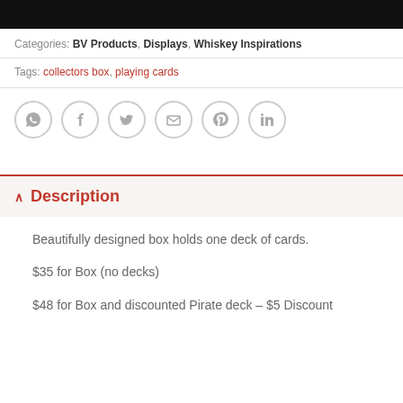Categories: BV Products, Displays, Whiskey Inspirations
Tags: collectors box, playing cards
[Figure (infographic): Social share icons: WhatsApp, Facebook, Twitter, Email, Pinterest, LinkedIn — all in gray circle outlines]
Description
Beautifully designed box holds one deck of cards.
$35 for Box (no decks)
$48 for Box and discounted Pirate deck – $5 Discount